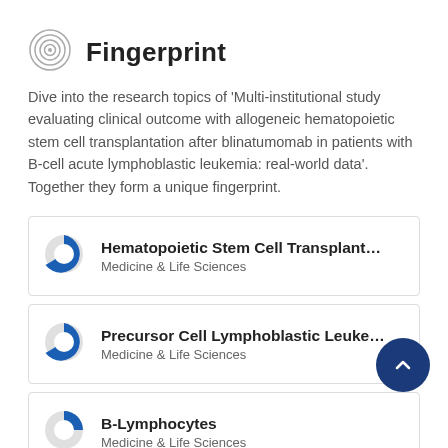Fingerprint
Dive into the research topics of 'Multi-institutional study evaluating clinical outcome with allogeneic hematopoietic stem cell transplantation after blinatumomab in patients with B-cell acute lymphoblastic leukemia: real-world data'. Together they form a unique fingerprint.
Hematopoietic Stem Cell Transplantation — Medicine & Life Sciences
Precursor Cell Lymphoblastic Leukemia-Lymphoma — Medicine & Life Sciences
B-Lymphocytes — Medicine & Life Sciences
Clinical Studies